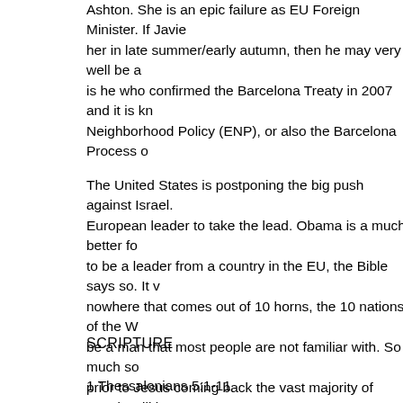Ashton.  She is an epic failure as EU Foreign Minister.  If Javier her in late summer/early autumn, then he may very well be a is he who confirmed the Barcelona Treaty in 2007 and it is kn Neighborhood Policy (ENP), or also the Barcelona Process o
The United States is postponing the big push against Israel. European leader to take the lead.  Obama is a much better fo to be a leader from a country in the EU, the Bible says so.  It v nowhere that comes out of 10 horns, the 10 nations of the W be a man that most people are not familiar with.  So much so prior to Jesus coming back the vast majority of people will be when Christ comes back.  But those who watch and follow ev so.  God does not do anything grand without preparing His c you willing to understand who the man of sin is when he con salvation in Jesus Christ?  The only description that matters
SCRIPTURE
1 Thessalonians 5:1-11